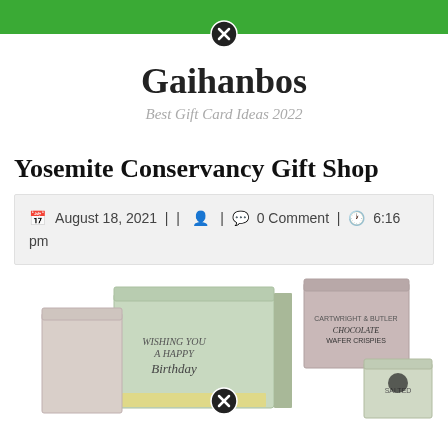Gaihanbos — Best Gift Card Ideas 2022
Yosemite Conservancy Gift Shop
August 18, 2021 | | 0 Comment | 6:16 pm
[Figure (photo): Gift shop boxes including a green box labeled 'Wishing You A Happy Birthday' and chocolate wafer crispy boxes]